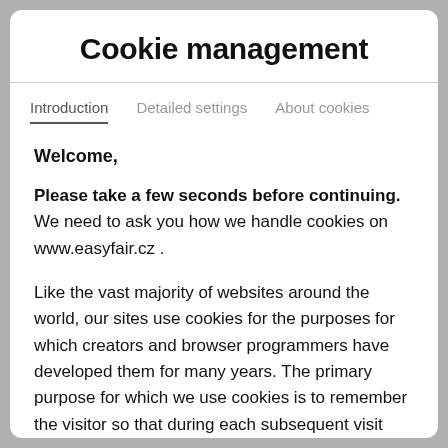Cookie management
Introduction   Detailed settings   About cookies
Welcome,
Please take a few seconds before continuing. We need to ask you how we handle cookies on www.easyfair.cz .
Like the vast majority of websites around the world, our sites use cookies for the purposes for which creators and browser programmers have developed them for many years. The primary purpose for which we use cookies is to remember the visitor so that during each subsequent visit some settings do not have to